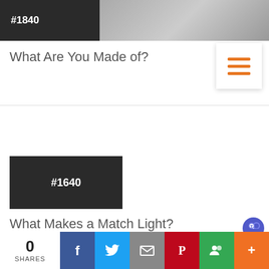[Figure (photo): Top image strip showing a photo with a dark badge displaying #1840 on the left side]
What Are You Made of?
[Figure (other): Hamburger menu icon with three orange horizontal lines on white card with shadow]
[Figure (photo): Dark rectangle thumbnail badge displaying #1640]
What Makes a Match Light?
[Figure (logo): Microsoft Teams purple logo icon]
0 SHARES
[Figure (infographic): Social share bar with Facebook, Twitter, Email, Pinterest, Google+, and More buttons]